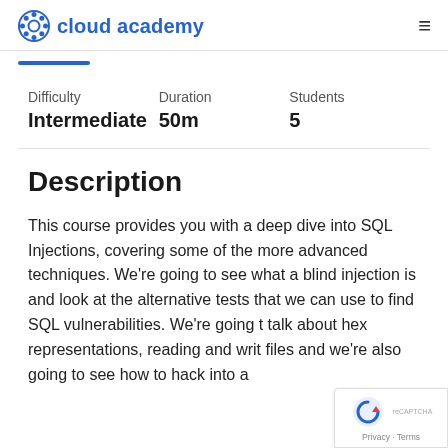cloud academy
| Difficulty | Duration | Students |
| --- | --- | --- |
| Intermediate | 50m | 5 |
Description
This course provides you with a deep dive into SQL Injections, covering some of the more advanced techniques. We're going to see what a blind injection is and look at the alternative tests that we can use to find SQL vulnerabilities. We're going to talk about hex representations, reading and writing files and we're also going to see how to hack into a